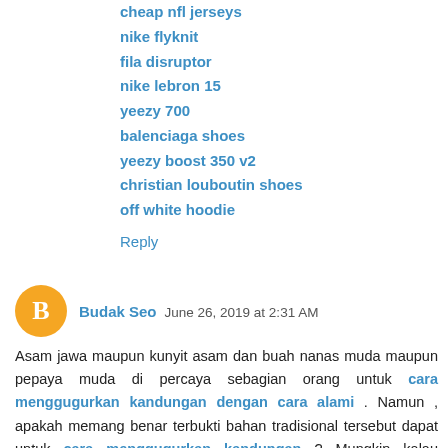cheap nfl jerseys
nike flyknit
fila disruptor
nike lebron 15
yeezy 700
balenciaga shoes
yeezy boost 350 v2
christian louboutin shoes
off white hoodie
Reply
Budak Seo  June 26, 2019 at 2:31 AM
Asam jawa maupun kunyit asam dan buah nanas muda maupun pepaya muda di percaya sebagian orang untuk cara menggugurkan kandungan dengan cara alami . Namun , apakah memang benar terbukti bahan tradisional tersebut dapat untuk cara menggugurkan kandungan ? Mungkin kalau kandunganya masih muda dan lemah bisa saja berefek pada ibu hamil , tapi belum tentu menuntaskan . Bagaimana jika untuk menggugurkan kandungan 4 bulan hal ini tentu sangat sulit sekali ,